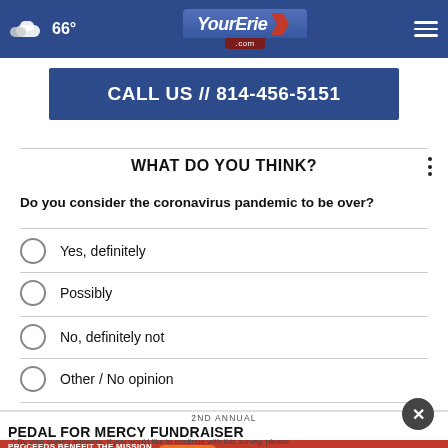66° | YourErie.com
[Figure (screenshot): YourErie.com news website navigation bar with weather icon showing 66°, YourErie.com logo, and hamburger menu]
[Figure (infographic): Advertisement banner: CALL US // 814-456-5151]
WHAT DO YOU THINK?
Do you consider the coronavirus pandemic to be over?
Yes, definitely
Possibly
No, definitely not
Other / No opinion
[Figure (infographic): 2ND ANNUAL PEDAL FOR MERCY FUNDRAISER - PROCEEDS BENEFIT THE MISSION OF MERCY CENTER FOR WOMEN - REGISTER > - mcwerle.org]
* By your survey answers. If you would like to continue with this survey, please